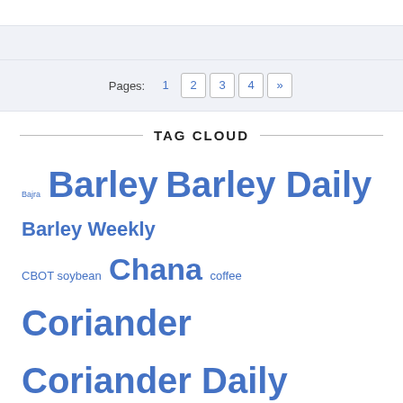Pages: 1 2 3 4 »
TAG CLOUD
Bajra Barley Barley Daily Barley Weekly CBOT soybean Chana coffee Coriander Coriander Daily Coriander Weekly cotton Groundnut Maize Maize Daily Maize Weekly Masoor Moong Musatrd Mustard Mustard